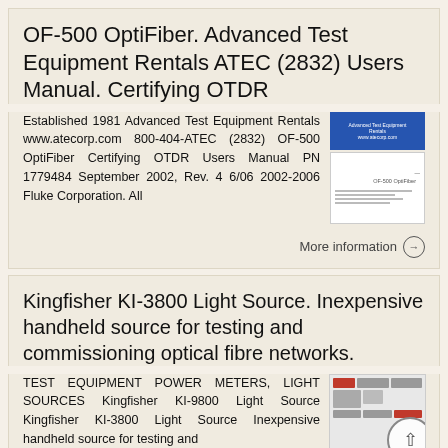OF-500 OptiFiber. Advanced Test Equipment Rentals ATEC (2832) Users Manual. Certifying OTDR
Established 1981 Advanced Test Equipment Rentals www.atecorp.com 800-404-ATEC (2832) OF-500 OptiFiber Certifying OTDR Users Manual PN 1779484 September 2002, Rev. 4 6/06 2002-2006 Fluke Corporation. All
More information →
Kingfisher KI-3800 Light Source. Inexpensive handheld source for testing and commissioning optical fibre networks.
TEST EQUIPMENT POWER METERS, LIGHT SOURCES Kingfisher KI-9800 Light Source Kingfisher KI-3800 Light Source Inexpensive handheld source for testing and